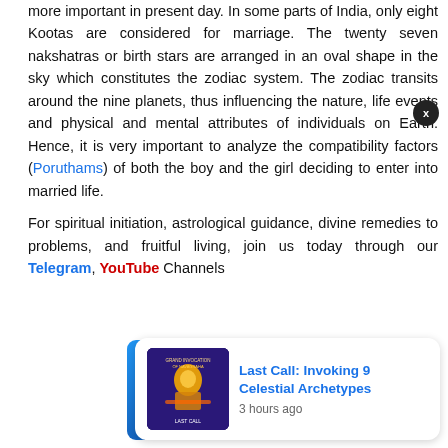more important in present day. In some parts of India, only eight Kootas are considered for marriage. The twenty seven nakshatras or birth stars are arranged in an oval shape in the sky which constitutes the zodiac system. The zodiac transits around the nine planets, thus influencing the nature, life events and physical and mental attributes of individuals on Earth. Hence, it is very important to analyze the compatibility factors (Poruthams) of both the boy and the girl deciding to enter into married life.
For spiritual initiation, astrological guidance, divine remedies to problems, and fruitful living, join us today through our Telegram, YouTube Channels
[Figure (other): Notification card with image thumbnail for 'Last Call: Invoking 9 Celestial Archetypes', showing 3 hours ago, with a blue side bar and close button X]